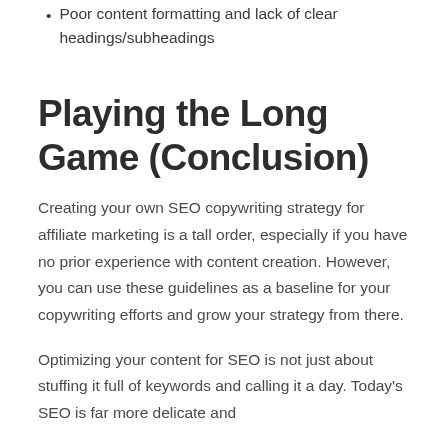Poor content formatting and lack of clear headings/subheadings
Playing the Long Game (Conclusion)
Creating your own SEO copywriting strategy for affiliate marketing is a tall order, especially if you have no prior experience with content creation. However, you can use these guidelines as a baseline for your copywriting efforts and grow your strategy from there.
Optimizing your content for SEO is not just about stuffing it full of keywords and calling it a day. Today's SEO is far more delicate and